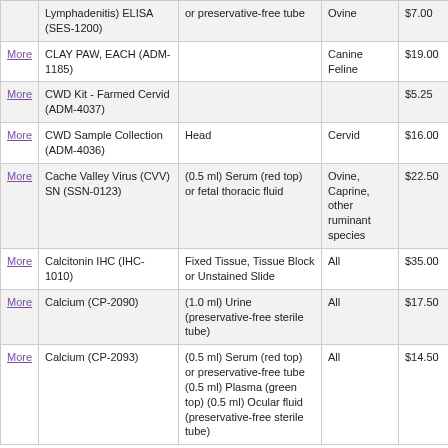|  | Test | Specimen | Species | Fee |
| --- | --- | --- | --- | --- |
| More | Lymphadenitis) ELISA (SES-1200) | or preservative-free tube | Ovine | $7.00 |
| More | CLAY PAW, EACH (ADM-1185) |  | Canine Feline | $19.00 |
| More | CWD Kit - Farmed Cervid (ADM-4037) |  |  | $5.25 |
| More | CWD Sample Collection (ADM-4036) | Head | Cervid | $16.00 |
| More | Cache Valley Virus (CVV) SN (SSN-0123) | (0.5 ml) Serum (red top) or fetal thoracic fluid | Ovine, Caprine, other ruminant species | $22.50 |
| More | Calcitonin IHC (IHC-1010) | Fixed Tissue, Tissue Block or Unstained Slide | All | $35.00 |
| More | Calcium (CP-2090) | (1.0 ml) Urine (preservative-free sterile tube) | All | $17.50 |
| More | Calcium (CP-2093) | (0.5 ml) Serum (red top) or preservative-free tube (0.5 ml) Plasma (green top) (0.5 ml) Ocular fluid (preservative-free sterile tube) | All | $14.50 |